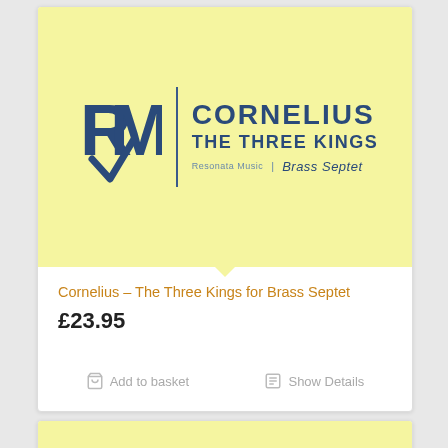[Figure (illustration): Yellow/cream background album cover image showing Resonata Music logo (RM stylized letters in blue) with a vertical blue divider line and text 'CORNELIUS / THE THREE KINGS / Resonata Music | Brass Septet' on a light yellow background.]
Cornelius – The Three Kings for Brass Septet
£23.95
Add to basket
Show Details